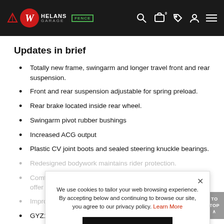Whelans Garage – navigation bar with logo and icons
Updates in brief
Totally new frame, swingarm and longer travel front and rear suspension.
Front and rear suspension adjustable for spring preload.
Rear brake located inside rear wheel.
Swingarm pivot rubber bushings
Increased ACG output
Plastic CV joint boots and sealed steering knuckle bearings.
Redesigned bodywork maintains rider protection.
Comfort has been enhanced with optimised rider triangle to offer optimum control and lower seat design.
Improved, more powerful headlights
GYZ16 wet-type battery.
We use cookies to tailor your web browsing experience. By accepting below and continuing to browse our site, you agree to our privacy policy. Learn More  [Agree button]